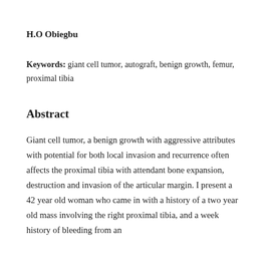H.O Obiegbu
Keywords: giant cell tumor, autograft, benign growth, femur, proximal tibia
Abstract
Giant cell tumor, a benign growth with aggressive attributes with potential for both local invasion and recurrence often affects the proximal tibia with attendant bone expansion, destruction and invasion of the articular margin. I present a 42 year old woman who came in with a history of a two year old mass involving the right proximal tibia, and a week history of bleeding from an